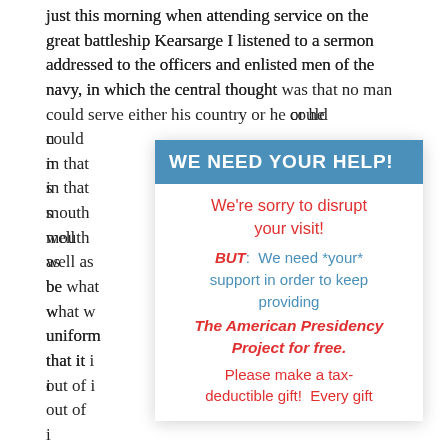just this morning when attending service on the great battleship Kearsarge I listened to a sermon addressed to the officers and enlisted men of the navy, in which the central thought was that no man could serve either his country or he could not … upon in that s… of mouth … as well as … to be what w… ational uniform… ement that it i… goes out of i…
[Figure (infographic): A popup overlay with blue header 'WE NEED YOUR HELP!' and body text in red and blue: 'We're sorry to disrupt your visit! BUT: We need *your* support in order to keep providing The American Presidency Project for free. Please make a tax-deductible gift! Every gift']
I am no… trouble to com… ho are engage… orth living m… king to men en… ore to men who will count for good or for evil. It is peculiarly incumbent upon you who have strength to set a right example to others. I ask you to remember that you cannot retain your